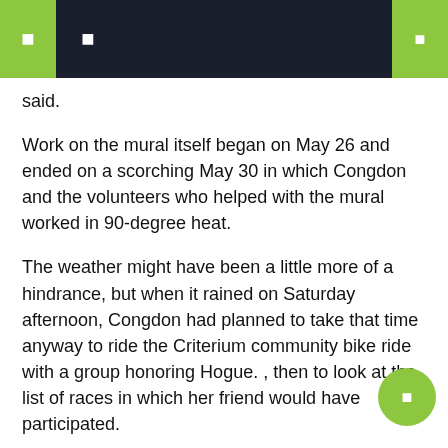said.
Work on the mural itself began on May 26 and ended on a scorching May 30 in which Congdon and the volunteers who helped with the mural worked in 90-degree heat.
The weather might have been a little more of a hindrance, but when it rained on Saturday afternoon, Congdon had planned to take that time anyway to ride the Criterium community bike ride with a group honoring Hogue. , then to look at the list of races in which her friend would have participated.
“Bicycling and art are powerful connectors between people and expressions of life, exuberance and freedom – qualities that Adé also embodied,” Strickland said in the statement. “Having Lisa’s mural in what will be one of Easton’s best public